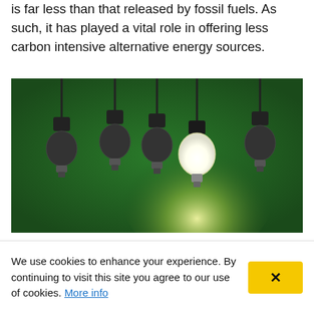is far less than that released by fossil fuels. As such, it has played a vital role in offering less carbon intensive alternative energy sources.
[Figure (photo): Five incandescent light bulbs hanging from cords against a green background, with one bulb in the center-right glowing brightly white while the others are unlit.]
What role can biomass
We use cookies to enhance your experience. By continuing to visit this site you agree to our use of cookies. More info